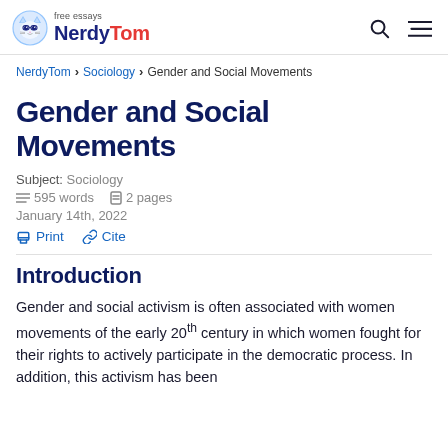NerdyTom free essays
NerdyTom > Sociology > Gender and Social Movements
Gender and Social Movements
Subject: Sociology
595 words  2 pages
January 14th, 2022
Print  Cite
Introduction
Gender and social activism is often associated with women movements of the early 20th century in which women fought for their rights to actively participate in the democratic process. In addition, this activism has been